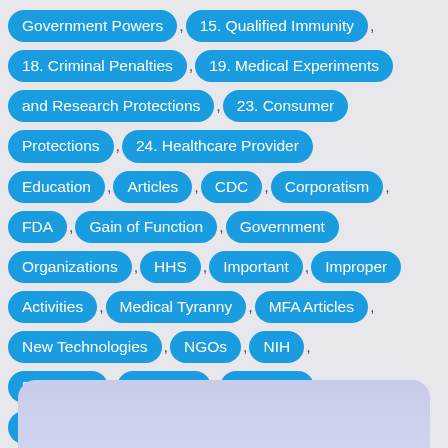Government Powers , 15. Qualified Immunity , 18. Criminal Penalties , 19. Medical Experiments and Research Protections , 23. Consumer Protections , 24. Healthcare Provider Education , Articles , CDC , Corporatism , FDA , Gain of Function , Government Organizations , HHS , Important , Improper Activities , Medical Tyranny , MFA Articles , New Technologies , NGOs , NIH , Plandemic , Research , Scientists , Ukraine